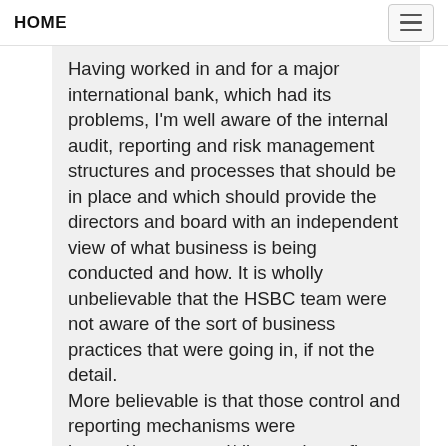HOME
Having worked in and for a major international bank, which had its problems, I'm well aware of the internal audit, reporting and risk management structures and processes that should be in place and which should provide the directors and board with an independent view of what business is being conducted and how. It is wholly unbelievable that the HSBC team were not aware of the sort of business practices that were going in, if not the detail. More believable is that those control and reporting mechanisms were ignored/suppressed/distorted to reflect what senior management and directors wanted to hear